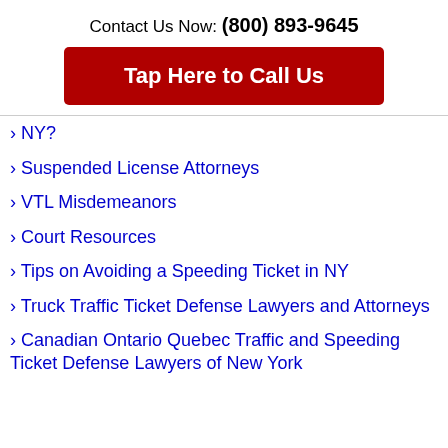Contact Us Now: (800) 893-9645
Tap Here to Call Us
NY?
Suspended License Attorneys
VTL Misdemeanors
Court Resources
Tips on Avoiding a Speeding Ticket in NY
Truck Traffic Ticket Defense Lawyers and Attorneys
Canadian Ontario Quebec Traffic and Speeding Ticket Defense Lawyers of New York